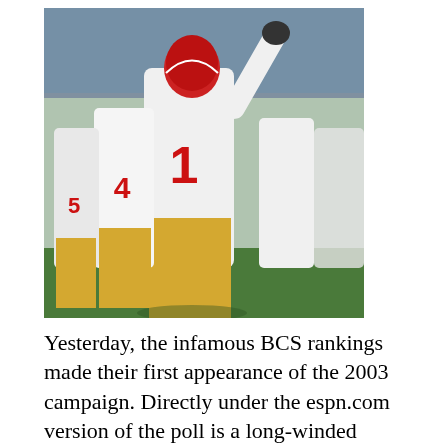[Figure (photo): A football player wearing USC Trojans uniform (white jersey with red number 1, gold pants) celebrating on the field, with teammates wearing numbers 4 and 5 visible behind him, stadium crowd in the background.]
Yesterday, the infamous BCS rankings made their first appearance of the 2003 campaign. Directly under the espn.com version of the poll is a long-winded explanation for a